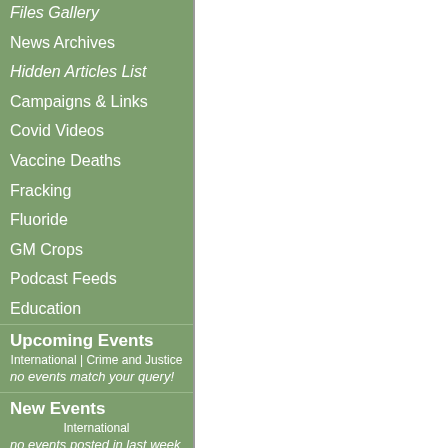Files Gallery
News Archives
Hidden Articles List
Campaigns & Links
Covid Videos
Vaccine Deaths
Fracking
Fluoride
GM Crops
Podcast Feeds
Education
Upcoming Events
International | Crime and Justice
no events match your query!
New Events
International
no events posted in last week
Other Press
Crime and Justice
Double Vaccinated 30 Year